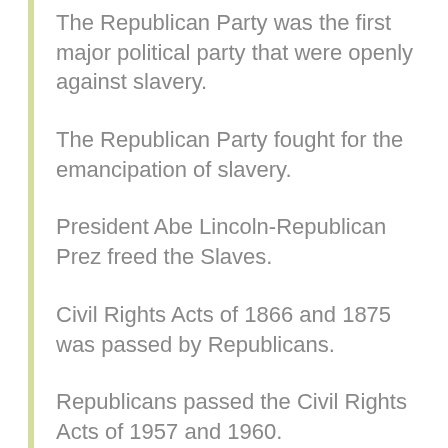The Republican Party was the first major political party that were openly against slavery.
The Republican Party fought for the emancipation of slavery.
President Abe Lincoln-Republican Prez freed the Slaves.
Civil Rights Acts of 1866 and 1875 was passed by Republicans.
Republicans passed the Civil Rights Acts of 1957 and 1960.
Republicans passed the Civil Rights Act of 1965.